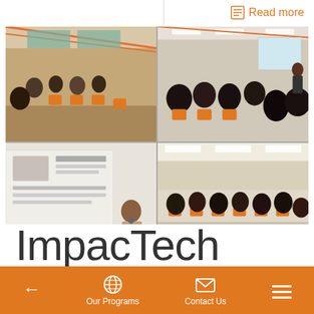Read more
[Figure (photo): Four-panel photo grid showing event/workshop scenes with participants seated in orange chairs in a large room, a presenter at a screen, and attendees in a bright indoor space.]
ImpacTech
Our Programs | Contact Us | navigation back arrow | menu